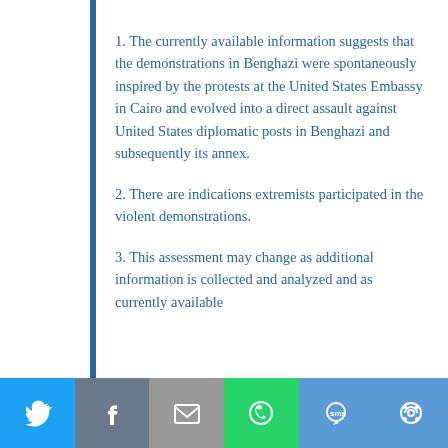1. The currently available information suggests that the demonstrations in Benghazi were spontaneously inspired by the protests at the United States Embassy in Cairo and evolved into a direct assault against United States diplomatic posts in Benghazi and subsequently its annex.
2. There are indications extremists participated in the violent demonstrations.
3. This assessment may change as additional information is collected and analyzed and as currently available